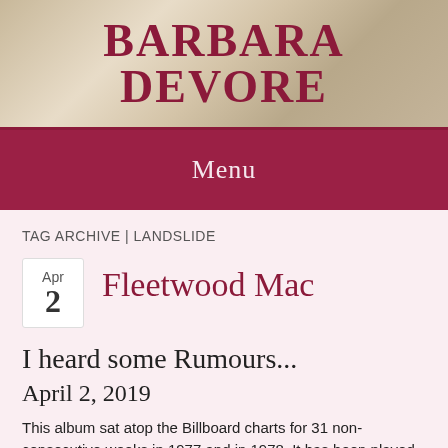BARBARA DEVORE
Menu
TAG ARCHIVE | LANDSLIDE
Fleetwood Mac
I heard some Rumours...
April 2, 2019
This album sat atop the Billboard charts for 31 non-consecutive weeks in 1977 and in 1978. It has been played on repeat since April 2, 2019.